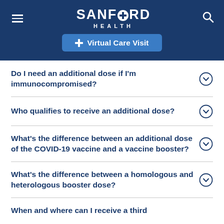Sanford Health — Virtual Care Visit
Do I need an additional dose if I'm immunocompromised?
Who qualifies to receive an additional dose?
What's the difference between an additional dose of the COVID-19 vaccine and a vaccine booster?
What's the difference between a homologous and heterologous booster dose?
When and where can I receive a third